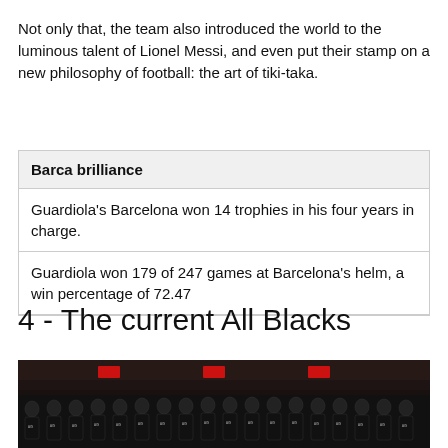Not only that, the team also introduced the world to the luminous talent of Lionel Messi, and even put their stamp on a new philosophy of football: the art of tiki-taka.
| Barca brilliance |
| --- |
| Guardiola's Barcelona won 14 trophies in his four years in charge. |
| Guardiola won 179 of 247 games at Barcelona's helm, a win percentage of 72.47 |
4 - The current All Blacks
[Figure (photo): A group photo of the All Blacks rugby team lined up on a pitch in a stadium, crowd visible in the background, players in black jerseys.]